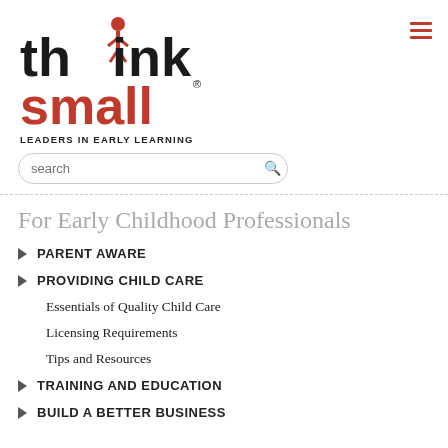[Figure (logo): Think Small logo with person icon above the 'i' in think, 'small' in red, and tagline 'LEADERS IN EARLY LEARNING']
For Early Childhood Professionals
PARENT AWARE
PROVIDING CHILD CARE
Essentials of Quality Child Care
Licensing Requirements
Tips and Resources
TRAINING AND EDUCATION
BUILD A BETTER BUSINESS